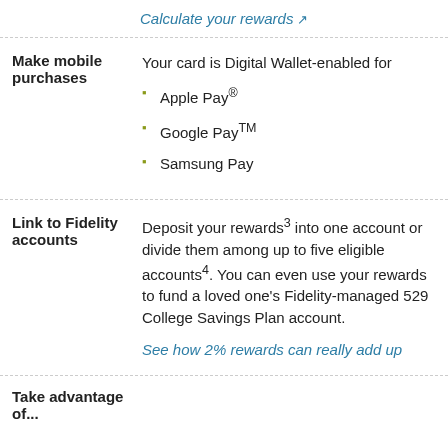Calculate your rewards ↗
Make mobile purchases
Your card is Digital Wallet-enabled for
Apple Pay®
Google Pay™
Samsung Pay
Link to Fidelity accounts
Deposit your rewards³ into one account or divide them among up to five eligible accounts⁴. You can even use your rewards to fund a loved one's Fidelity-managed 529 College Savings Plan account.
See how 2% rewards can really add up
Take advantage of...